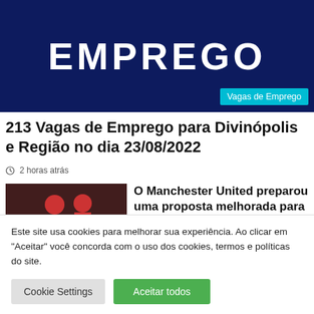[Figure (illustration): Dark navy blue banner with large white bold text 'EMPREGO' and a cyan badge 'Vagas de Emprego' in bottom right corner]
213 Vagas de Emprego para Divinópolis e Região no dia 23/08/2022
2 horas atrás
[Figure (photo): Soccer players in Ajax red and white kit]
O Manchester United preparou uma proposta melhorada para que Antonius deixe o Ajax
Este site usa cookies para melhorar sua experiência. Ao clicar em "Aceitar" você concorda com o uso dos cookies, termos e políticas do site.